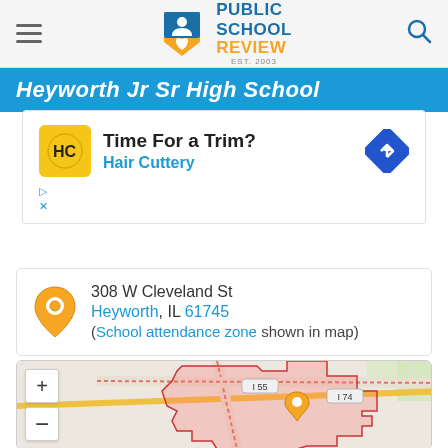Public School Review - EST. 2003
Heyworth Jr Sr High School
[Figure (screenshot): Advertisement for Hair Cuttery: 'Time For a Trim?' with Hair Cuttery logo and navigation arrow icon]
308 W Cleveland St
Heyworth, IL 61745
(School attendance zone shown in map)
[Figure (map): Map showing school attendance zone for Heyworth Jr Sr High School in Heyworth, IL. The map shows highlighted red/pink attendance zone boundary overlaid on a street map with Interstate 55 and I-74 visible. An orange location pin marks the school location. Map controls show zoom in (+), zoom out (-), and fullscreen expand buttons.]